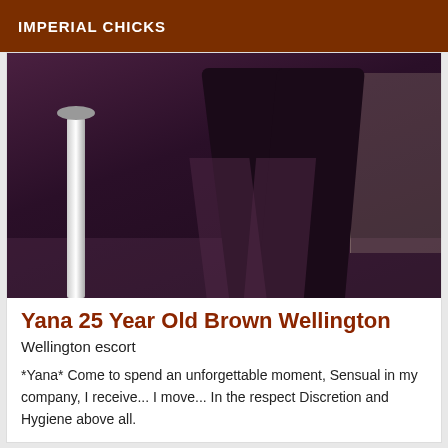IMPERIAL CHICKS
[Figure (photo): A photo showing the legs of a person wearing dark clothing, standing on a reflective floor. A metallic stand/pole is visible on the left, and a radiator on the right wall background.]
Yana 25 Year Old Brown Wellington
Wellington escort
*Yana* Come to spend an unforgettable moment, Sensual in my company, I receive... I move... In the respect Discretion and Hygiene above all.